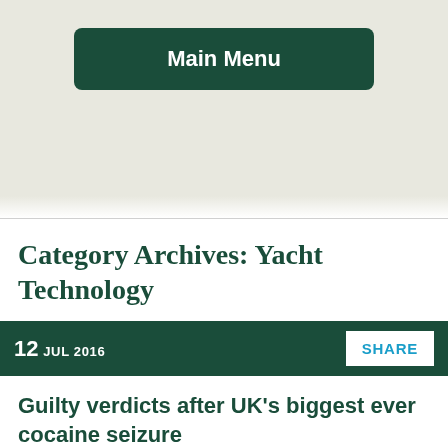Main Menu
Category Archives: Yacht Technology
12 JUL 2016
Guilty verdicts after UK's biggest ever cocaine seizure